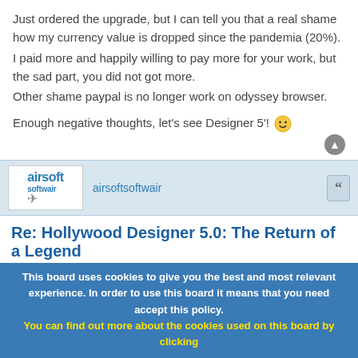Just ordered the upgrade, but I can tell you that a real shame how my currency value is dropped since the pandemia (20%).
I paid more and happily willing to pay more for your work, but the sad part, you did not got more.
Other shame paypal is no longer work on odyssey browser.

Enough negative thoughts, let's see Designer 5'! 😀
airsoftsoftwair
Re: Hollywood Designer 5.0: The Return of a Legend
Mon Apr 20, 2020 10:54 pm
Clyde wrote: ↑
EDIT: Andreas, I think you mixed up some of the screenshots and their description on the Designer page (
https://hollywood-mal.com/designer.html), e.g the screenshot for "Slide shows" show the Multi-user support while the screenshot entitled
"Multi-user support" show linking plugins into the project(?).
Oops, yes, fixed now.
This board uses cookies to give you the best and most relevant experience. In order to use this board it means that you need accept this policy.
You can find out more about the cookies used on this board by clicking